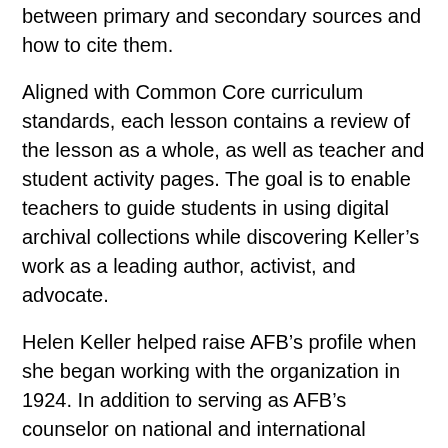between primary and secondary sources and how to cite them.
Aligned with Common Core curriculum standards, each lesson contains a review of the lesson as a whole, as well as teacher and student activity pages. The goal is to enable teachers to guide students in using digital archival collections while discovering Keller’s work as a leading author, activist, and advocate.
Helen Keller helped raise AFB’s profile when she began working with the organization in 1924. In addition to serving as AFB’s counselor on national and international relations, she made countless speeches and appearances at home and in more than 39 countries around the world on behalf of the organization. Keller remained active with AFB until her death in 1968, by which time she had radically changed perceptions of deafblindness and left a rich legacy upon which AFB continues to expand.
The lessons are available...